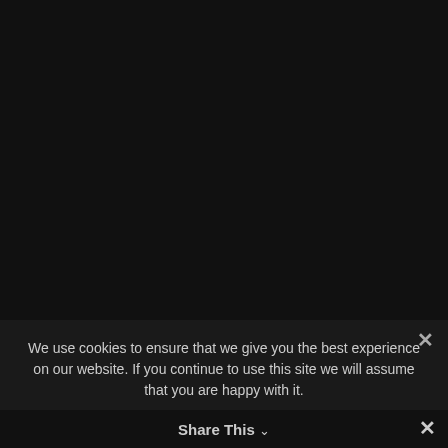[Figure (other): Dark/black background area occupying the top portion of the page]
We use cookies to ensure that we give you the best experience on our website. If you continue to use this site we will assume that you are happy with it.
Ok
Privacy policy
Share This